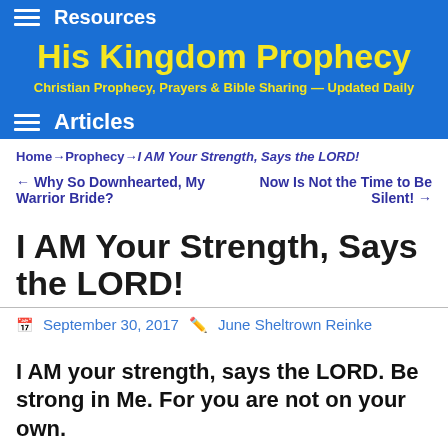Resources
His Kingdom Prophecy
Christian Prophecy, Prayers & Bible Sharing — Updated Daily
Articles
Home → Prophecy → I AM Your Strength, Says the LORD!
← Why So Downhearted, My Warrior Bride?    Now Is Not the Time to Be Silent! →
I AM Your Strength, Says the LORD!
September 30, 2017   June Sheltrown Reinke
I AM your strength, says the LORD. Be strong in Me. For you are not on your own.